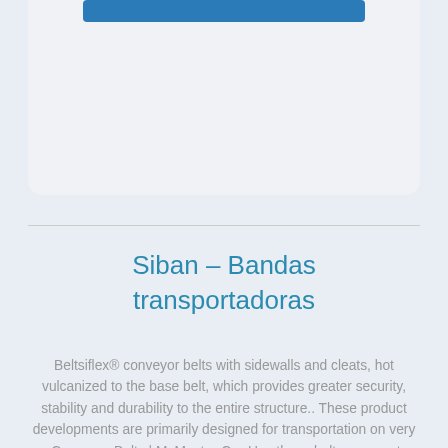[Figure (other): Partial card element with blue bar at top, light gray rounded rectangle background, cropped at top of page]
Siban – Bandas transportadoras
Beltsiflex® conveyor belts with sidewalls and cleats, hot vulcanized to the base belt, which provides greater security, stability and durability to the entire structure.. These product developments are primarily designed for transportation on very ...Conveyor Belts | McMaster-CarrUse these belt scrapers to remove debris from conveyor belts. If a chip of this blade breaks off near a process line, it can be located by metal detectors to reduce